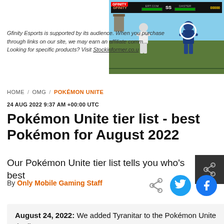[Figure (screenshot): Screenshot of a fighting video game (Mortal Kombat style) with a HUD showing health bars and score, two characters fighting on a stage with an outdoor background.]
Gfinity Esports is supported by its audience. When you purchase through links on our site, we may earn an affiliate commission. Learn more. Looking for specific products? Visit Stockinformer.co.uk / stockinformer.com.
HOME / OMG / POKÉMON UNITE
24 AUG 2022 9:37 AM +00:00 UTC
Pokémon Unite tier list - best Pokémon for August 2022
Our Pokémon Unite tier list tells you who's best
By Only Mobile Gaming Staff
August 24, 2022: We added Tyranitar to the Pokémon Unite tier list.